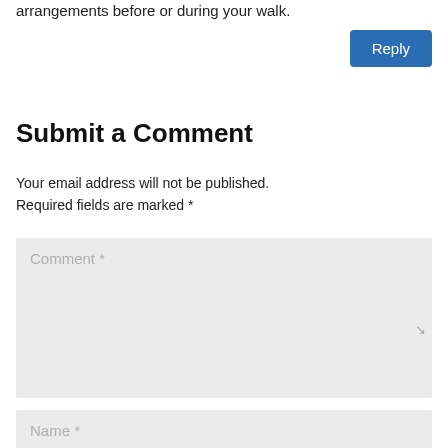arrangements before or during your walk.
[Figure (other): Reply button (blue rounded rectangle)]
Submit a Comment
Your email address will not be published. Required fields are marked *
[Figure (other): Comment text area input field with placeholder text 'Comment *']
[Figure (other): Name input field with placeholder text 'Name *']